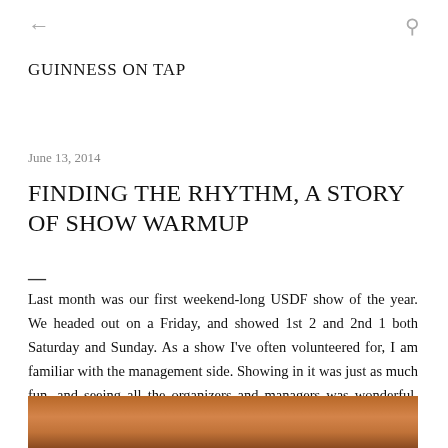← GUINNESS ON TAP 🔍
GUINNESS ON TAP
June 13, 2014
FINDING THE RHYTHM, A STORY OF SHOW WARMUP
Last month was our first weekend-long USDF show of the year. We headed out on a Friday, and showed 1st 2 and 2nd 1 both Saturday and Sunday. As a show I've often volunteered for, I am familiar with the management side. Showing in it was just as much fun, and seeing all the organizers and managers was wonderful. Harmony in the Park is truly a good and fun show to be a part of.
[Figure (photo): Partial photo of a horse with reddish-brown coat visible at the bottom of the page]